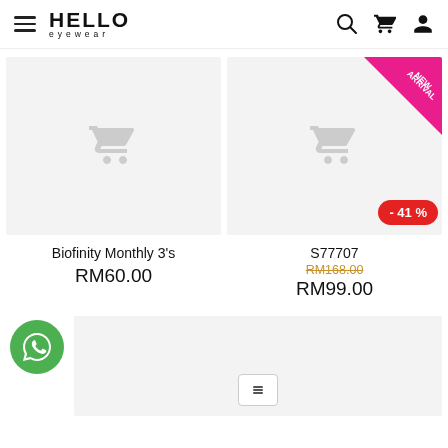HELLO eyewear — navigation header with menu, logo, search, cart, account icons
[Figure (screenshot): Product card for Biofinity Monthly 3's — grey placeholder image with cart icon]
Biofinity Monthly 3's
RM60.00
[Figure (screenshot): Product card for S77707 — grey placeholder image with cart icon, NEW ARRIVAL ribbon badge, -41% discount badge]
S77707
RM168.00 RM99.00
[Figure (other): WhatsApp floating button (green circle with WhatsApp icon) and partial next product card with navigation arrow button]